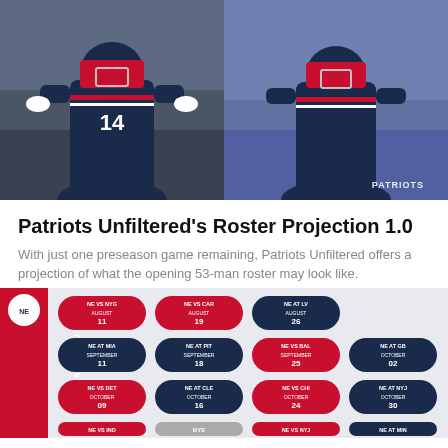[Figure (photo): Two New England Patriots players in blue uniforms, side-by-side photos]
Patriots Unfiltered's Roster Projection 1.0
With just one preseason game remaining, Patriots Unfiltered offers a projection of what the opening 53-man roster may look like.
[Figure (infographic): 2022 New England Patriots schedule graphic showing preseason and regular season games with team logos, dates, and game locations]
[Figure (infographic): Social media share icons: Facebook, Twitter, Email, Link]